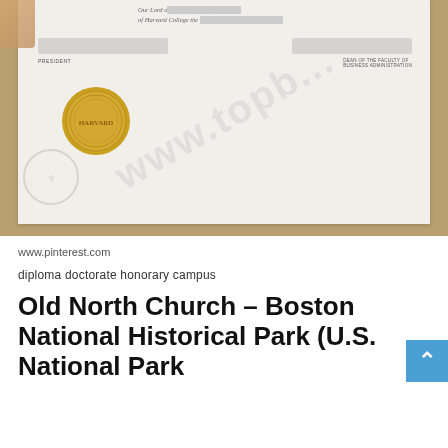[Figure (photo): A photograph of a Harvard diploma/certificate on a wooden surface, showing partial text including 'Our Lord', 'of Harvard College', with signatures, labels for PRESIDENT and DEAN OF THE FACULTY OF BUSINESS ADMINISTRATION, a gold embossed seal, and a watermark reading www.topb... overlaid on the document.]
www.pinterest.com
diploma doctorate honorary campus
Old North Church – Boston National Historical Park (U.S. National Park